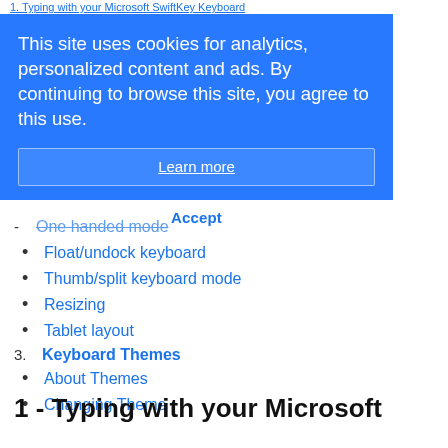1. Typing with your Microsoft SwiftKey Keyboard
[Figure (screenshot): Blue cookie consent banner reading: This site uses cookies for analytics, personalized content and ads. By continuing to browse this site, you agree to this use. With a Learn more button.]
Accept
- One handed mode
• Float/undock keyboard
• Thumb/split keyboard mode
• Resizing
• Tablet layout
3. Keyboard Themes
• About Themes
• Changing Theme
1 - Typing with your Microsoft